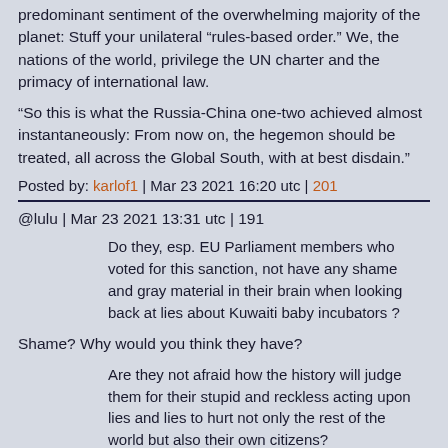predominant sentiment of the overwhelming majority of the planet: Stuff your unilateral “rules-based order.” We, the nations of the world, privilege the UN charter and the primacy of international law.
"So this is what the Russia-China one-two achieved almost instantaneously: From now on, the hegemon should be treated, all across the Global South, with at best disdain."
Posted by: karlof1 | Mar 23 2021 16:20 utc | 201
@lulu | Mar 23 2021 13:31 utc | 191
Do they, esp. EU Parliament members who voted for this sanction, not have any shame and gray material in their brain when looking back at lies about Kuwaiti baby incubators ?
Shame? Why would you think they have?
Are they not afraid how the history will judge them for their stupid and reckless acting upon lies and lies to hurt not only the rest of the world but also their own citizens?
It makes you think they believe there won't be anyone to answer to, doesn't it?